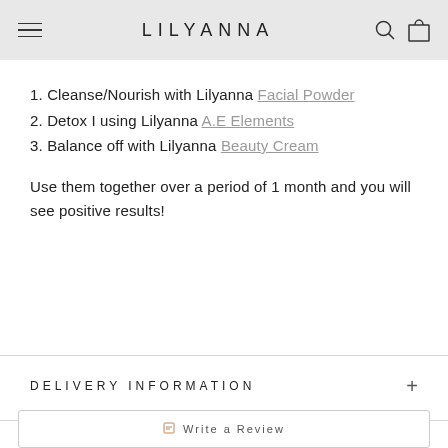LILYANNA
1. Cleanse/Nourish with Lilyanna Facial Powder
2. Detox I using Lilyanna A.E Elements
3. Balance off with Lilyanna Beauty Cream
Use them together over a period of 1 month and you will see positive results!
DELIVERY INFORMATION